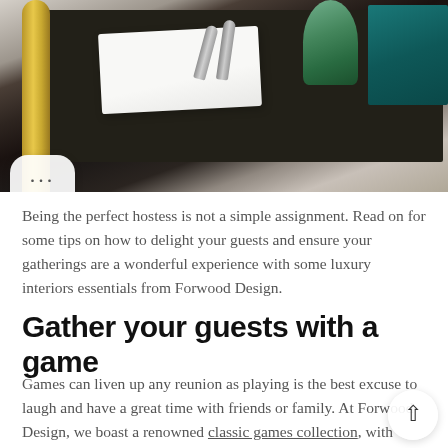[Figure (photo): A close-up photo of a bar cart with a dark tray surface featuring white napkins, silver bottle stoppers, a teal/green wine glass, a teal book, and a gold metal cart arm on the left side. A white rounded bubble with three dots (more options icon) overlaps the bottom-left of the photo.]
Being the perfect hostess is not a simple assignment. Read on for some tips on how to delight your guests and ensure your gatherings are a wonderful experience with some luxury interiors essentials from Forwood Design.
Gather your guests with a game
Games can liven up any reunion as playing is the best excuse to laugh and have a great time with friends or family. At Forwood Design, we boast a renowned classic games collection, with something to suit everyone! It includes backgammon sets inlaid